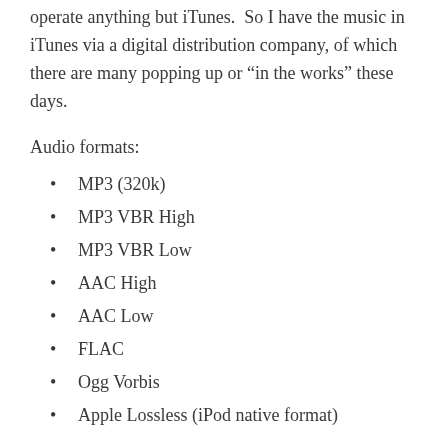operate anything but iTunes.  So I have the music in iTunes via a digital distribution company, of which there are many popping up or “in the works” these days.
Audio formats:
MP3 (320k)
MP3 VBR High
MP3 VBR Low
AAC High
AAC Low
FLAC
Ogg Vorbis
Apple Lossless (iPod native format)
One supercool feature is the ability to match graphics with an existing site, upload multiple albums, or singles, and the tools are pretty cool also, including mailing list merges with their “download code” generator. From